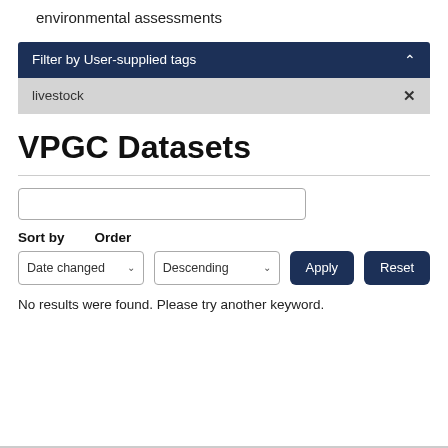environmental assessments
Filter by User-supplied tags
livestock
VPGC Datasets
No results were found. Please try another keyword.